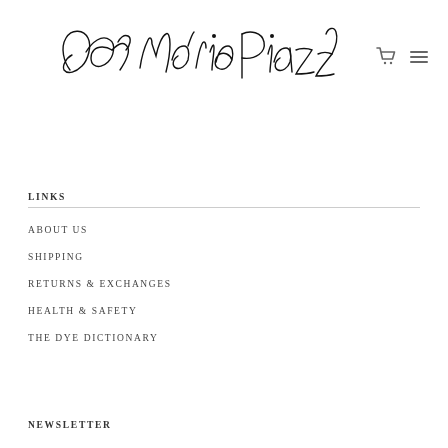[Figure (logo): Handwritten cursive signature logo reading 'Cara Marie Piazza' with shopping cart and hamburger menu icons]
LINKS
ABOUT US
SHIPPING
RETURNS & EXCHANGES
HEALTH & SAFETY
THE DYE DICTIONARY
NEWSLETTER